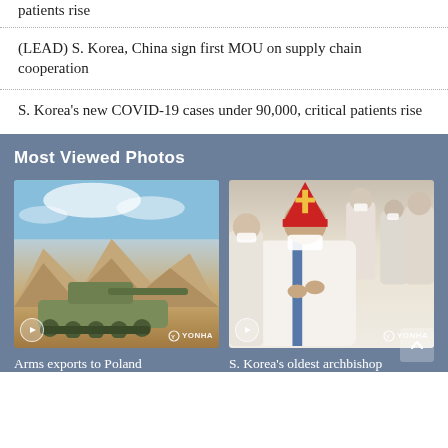patients rise
(LEAD) S. Korea, China sign first MOU on supply chain cooperation
S. Korea's new COVID-19 cases under 90,000, critical patients rise
Most Viewed Photos
[Figure (photo): Military tank in desert/mountainous terrain with YONHAP watermark]
Arms exports to Poland
[Figure (photo): Elderly Catholic archbishop in ceremonial robes with mask-wearing attendees, YONHAP watermark]
S. Korea's oldest archbishop